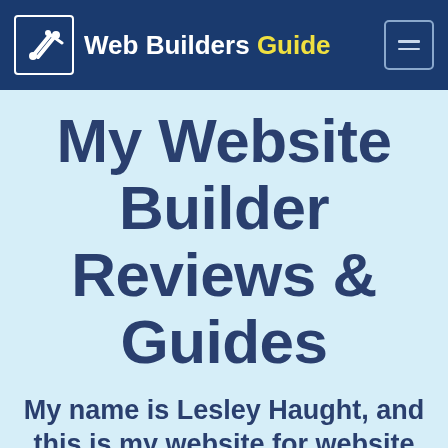Web Builders Guide
My Website Builder Reviews & Guides
My name is Lesley Haught, and this is my website for website builder reviews, testing,